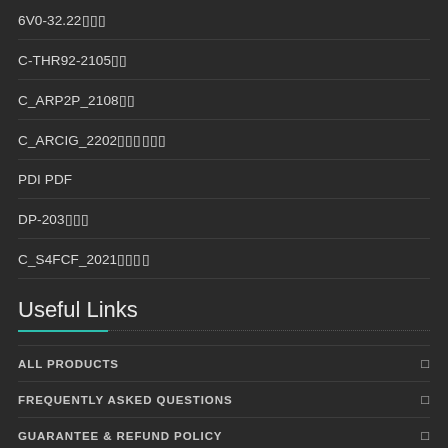6V0-32.22
C-THR92-2105
C_ARP2P_2108
C_ARCIG_2202
PDI PDF
DP-203
C_S4FCF_2021
Useful Links
ALL PRODUCTS
FREQUENTLY ASKED QUESTIONS
GUARANTEE & REFUND POLICY